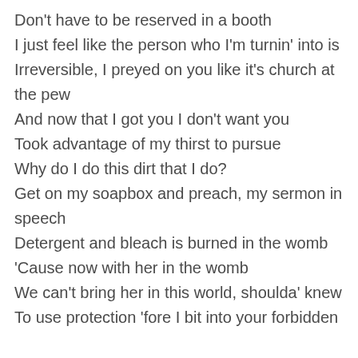Don't have to be reserved in a booth
I just feel like the person who I'm turnin' into is
Irreversible, I preyed on you like it's church at the pew
And now that I got you I don't want you
Took advantage of my thirst to pursue
Why do I do this dirt that I do?
Get on my soapbox and preach, my sermon in speech
Detergent and bleach is burned in the womb
'Cause now with her in the womb
We can't bring her in this world, shoulda' knew
To use protection 'fore I bit into your forbidden